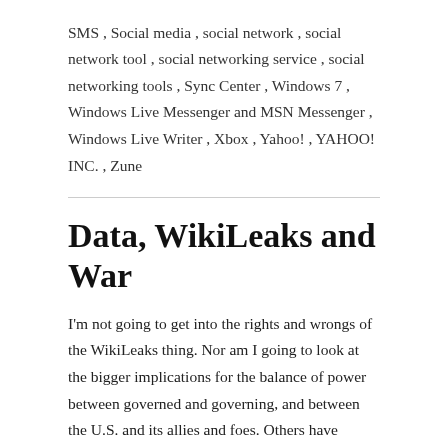SMS , Social media , social network , social network tool , social networking service , social networking tools , Sync Center , Windows 7 , Windows Live Messenger and MSN Messenger , Windows Live Writer , Xbox , Yahoo! , YAHOO! INC. , Zune
Data, WikiLeaks and War
I'm not going to get into the rights and wrongs of the WikiLeaks thing. Nor am I going to look at the bigger implications for the balance of power between governed and governing, and between the U.S. and its allies and foes. Others have written much better than I can on these topics. I want… Read More »
Category: datawars Tags: Afghanistan , analyst , Cable fatigue , Central Intelligence Agency , data systems , Department of State , Espionage , Facebook Inc , Internet